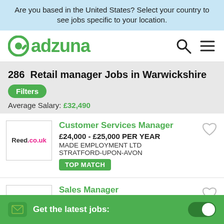Are you based in the United States? Select your country to see jobs specific to your location.
[Figure (logo): Adzuna logo with green circular icon and green text 'adzuna', plus search and menu icons on the right]
286 Retail manager Jobs in Warwickshire
Average Salary: £32,490
Customer Services Manager £24,000 - £25,000 PER YEAR MADE EMPLOYMENT LTD STRATFORD-UPON-AVON TOP MATCH
Sales Manager JOBSWORTH: £ 43,809 P.A. ARBURY MOTOR GROUP
Get the latest jobs: